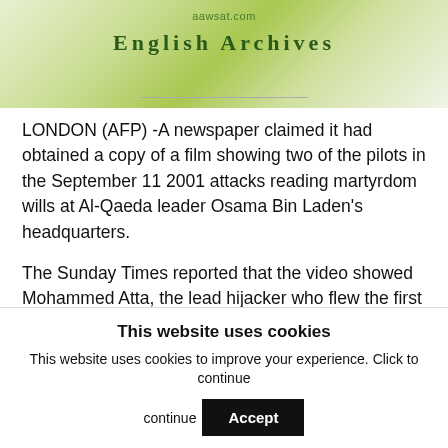aawsat.com
English Archives
LONDON (AFP) -A newspaper claimed it had obtained a copy of a film showing two of the pilots in the September 11 2001 attacks reading martyrdom wills at Al-Qaeda leader Osama Bin Laden's headquarters.
The Sunday Times reported that the video showed Mohammed Atta, the lead hijacker who flew the first plane into New York's World Trade Center, with Ziad Jarrah, pilot of a plane which crashed in Pennsylvania
This website uses cookies
This website uses cookies to improve your experience. Click to continue
Accept